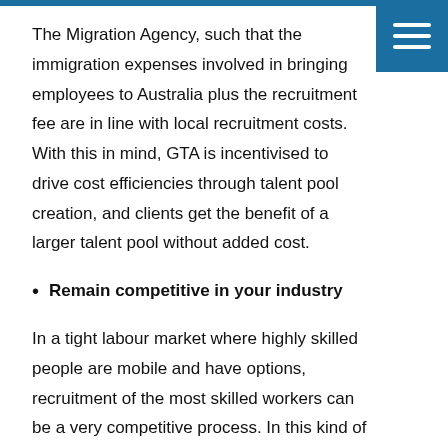The Migration Agency, such that the immigration expenses involved in bringing employees to Australia plus the recruitment fee are in line with local recruitment costs. With this in mind, GTA is incentivised to drive cost efficiencies through talent pool creation, and clients get the benefit of a larger talent pool without added cost.
Remain competitive in your industry
In a tight labour market where highly skilled people are mobile and have options, recruitment of the most skilled workers can be a very competitive process. In this kind of marketplace, it's essential for employers to stand out. Employers can create a competitive edge by offering high compensation and excellent benefits, but these perks can only go so far when all employers are offering similar